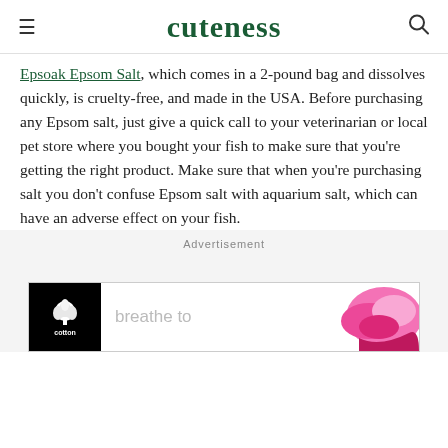cuteness
Epsoak Epsom Salt, which comes in a 2-pound bag and dissolves quickly, is cruelty-free, and made in the USA. Before purchasing any Epsom salt, just give a quick call to your veterinarian or local pet store where you bought your fish to make sure that you're getting the right product. Make sure that when you're purchasing salt you don't confuse Epsom salt with aquarium salt, which can have an adverse effect on your fish.
Advertisement
[Figure (other): Cotton advertisement banner showing Cotton logo on black background with text 'breathe to' and pink undergarment on the right side]